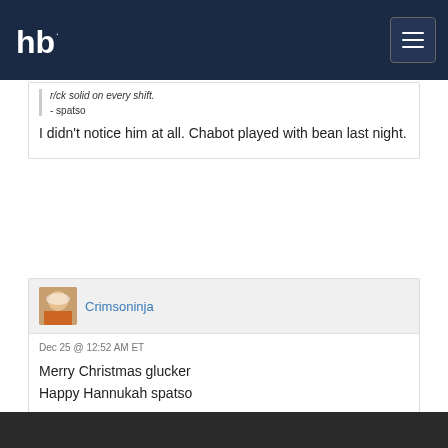hb. [logo] [hamburger menu]
r/ck solid on every shift.
- spatso
I didn't notice him at all. Chabot played with bean last night.
Crimsoninja
Dec 25 @ 12:52 AM ET
Merry Christmas glucker
Happy Hannukah spatso